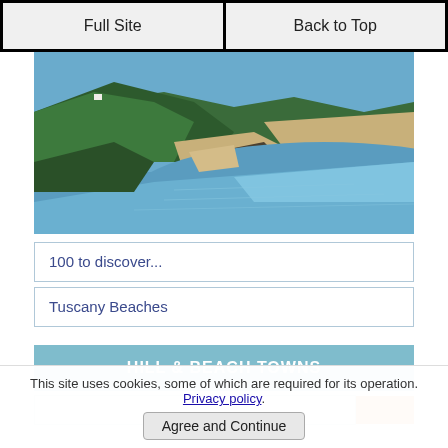Full Site | Back to Top
[Figure (photo): Aerial coastal view showing green forested hills, sandy beaches, and blue ocean water with rocky promontory]
100 to discover...
Tuscany Beaches
HILL & BEACH TOWNS
This site uses cookies, some of which are required for its operation. Privacy policy.
Agree and Continue